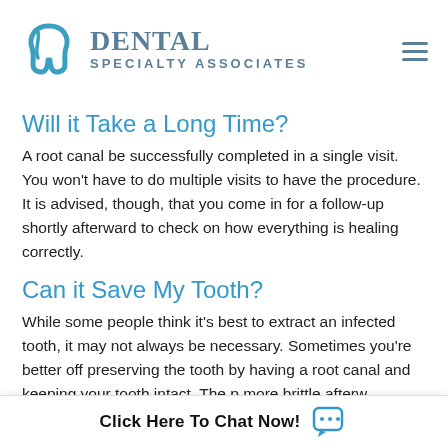Dental Specialty Associates
Will it Take a Long Time?
A root canal be successfully completed in a single visit. You won't have to do multiple visits to have the procedure. It is advised, though, that you come in for a follow-up shortly afterward to check on how everything is healing correctly.
Can it Save My Tooth?
While some people think it's best to extract an infected tooth, it may not always be necessary. Sometimes you're better off preserving the tooth by having a root canal and keeping your tooth intact. The p more brittle afterw
Click Here To Chat Now!